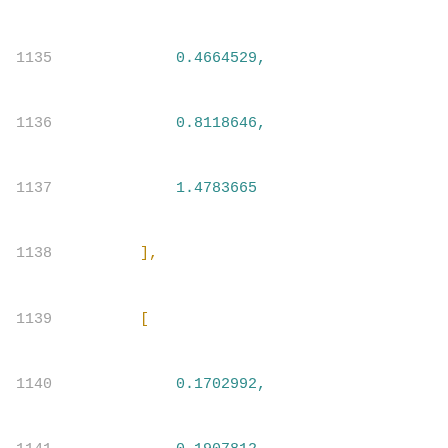Code listing lines 1135-1156 showing numerical array data with line numbers
1135    0.4664529,
1136    0.8118646,
1137    1.4783665
1138  ],
1139  [
1140    0.1702992,
1141    0.1907812,
1142    0.230053,
1143    0.3094953,
1144    0.473009,
1145    0.8083171,
1146    1.4880341
1147  ],
1148  [
1149    0.2584499,
1150    0.2833927,
1151    0.328501,
1152    0.4112173,
1153    0.5571433,
1154    0.8520253,
1155    1.4842683
1156  ],